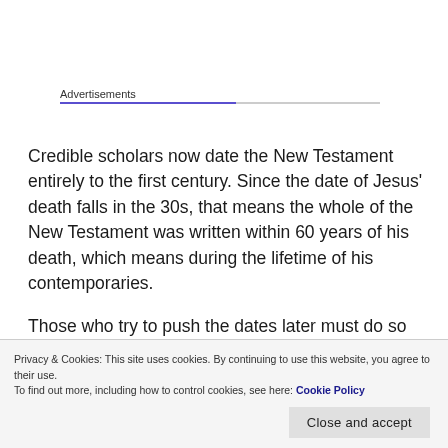Advertisements
Credible scholars now date the New Testament entirely to the first century. Since the date of Jesus' death falls in the 30s, that means the whole of the New Testament was written within 60 years of his death, which means during the lifetime of his contemporaries.
Those who try to push the dates later must do so by controverting the obvious historical testimonies of both
Privacy & Cookies: This site uses cookies. By continuing to use this website, you agree to their use.
To find out more, including how to control cookies, see here: Cookie Policy
Close and accept